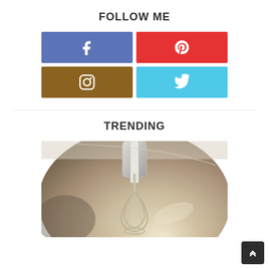FOLLOW ME
[Figure (infographic): Four social media buttons in a 2x2 grid: Facebook (blue), Pinterest (red), Instagram (brown), Twitter (light blue)]
TRENDING
[Figure (photo): Close-up photo of a stand mixer whisk attachment inside a stainless steel mixing bowl]